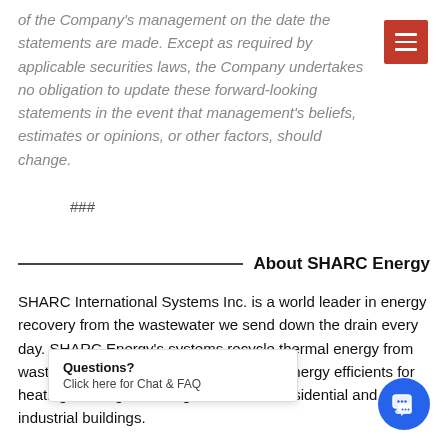of the Company's management on the date the statements are made. Except as required by applicable securities laws, the Company undertakes no obligation to update these forward-looking statements in the event that management's beliefs, estimates or opinions, or other factors, should change.
###
About SHARC Energy
SHARC International Systems Inc. is a world leader in energy recovery from the wastewater we send down the drain every day. SHARC Energy's systems recycle thermal energy from wastewater, generating one of the most energy efficie... for heating, cooling & h... commercial, residential and industrial buildings.